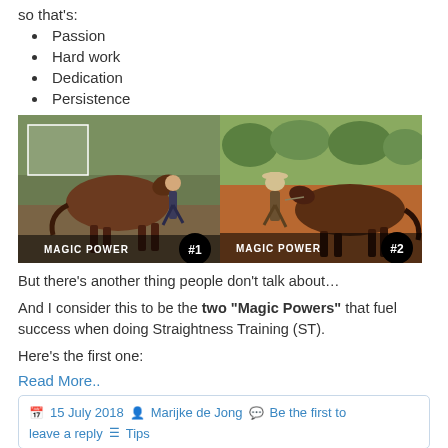so that's:
Passion
Hard work
Dedication
Persistence
[Figure (photo): Two side-by-side video thumbnails labeled 'MAGIC POWER #1' and 'MAGIC POWER #2', each showing a person doing horse training (Straightness Training) with a bay horse outdoors.]
But there's another thing people don't talk about…
And I consider this to be the two "Magic Powers" that fuel success when doing Straightness Training (ST).
Here's the first one:
Read More..
15 July 2018  Marijke de Jong  Be the first to leave a reply  Tips